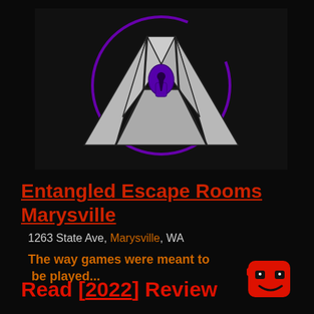[Figure (logo): Entangled Escape Rooms logo: a stylized triangular symbol with a keyhole in the center, surrounded by a purple partial circle, on a dark background.]
Entangled Escape Rooms Marysville
1263 State Ave, Marysville, WA
The way games were meant to be played...
Read [2022] Review